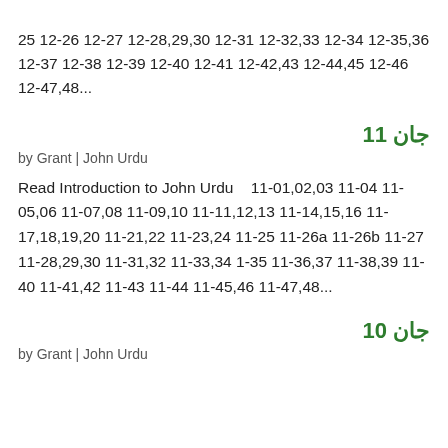25 12-26 12-27 12-28,29,30 12-31 12-32,33 12-34 12-35,36 12-37 12-38 12-39 12-40 12-41 12-42,43 12-44,45 12-46 12-47,48...
جان 11
by Grant | John Urdu
Read Introduction to John Urdu   11-01,02,03 11-04 11-05,06 11-07,08 11-09,10 11-11,12,13 11-14,15,16 11-17,18,19,20 11-21,22 11-23,24 11-25 11-26a 11-26b 11-27 11-28,29,30 11-31,32 11-33,34 1-35 11-36,37 11-38,39 11-40 11-41,42 11-43 11-44 11-45,46 11-47,48...
جان 10
by Grant | John Urdu